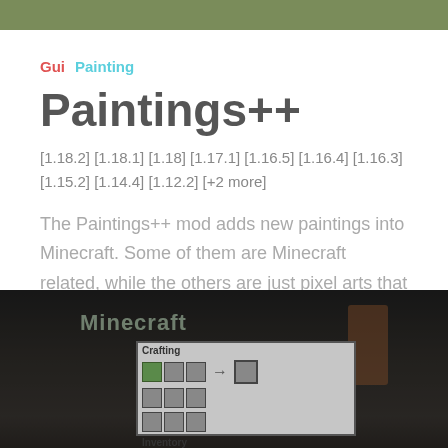Gui  Painting
Paintings++
[1.18.2] [1.18.1] [1.18] [1.17.1] [1.16.5] [1.16.4] [1.16.3] [1.15.2] [1.14.4] [1.12.2] [+2 more]
The Paintings++ mod adds new paintings into Minecraft. Some of them are Minecraft related, while the others are just pixel arts that represent real life stuff. The mod comes with a painting selection GUI that lets players choose which painting t...
[Figure (screenshot): Dark Minecraft screenshot showing a crafting GUI interface with a green item in the crafting grid, an arrow pointing to a result slot, and an Inventory label below. A brownish figure silhouette is visible on the right side.]